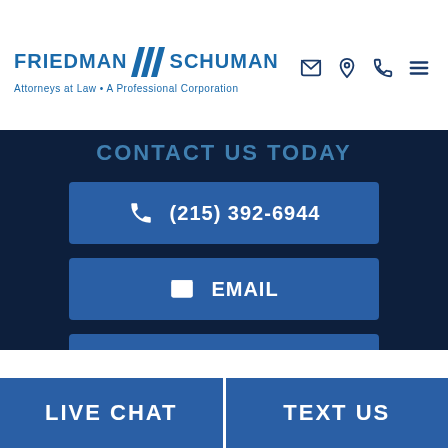FRIEDMAN /// SCHUMAN — Attorneys at Law • A Professional Corporation
CONTACT US TODAY
(215) 392-6944
EMAIL
CHAT NOW
LIVE CHAT
TEXT US